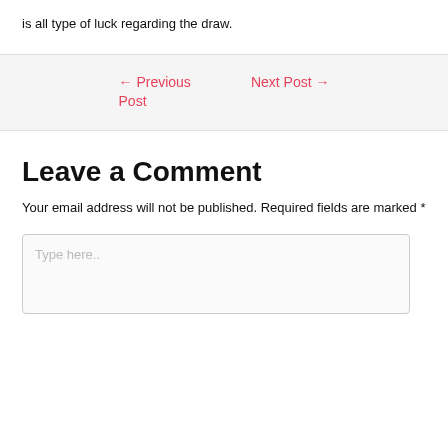is all type of luck regarding the draw.
← Previous Post
Next Post →
Leave a Comment
Your email address will not be published. Required fields are marked *
Type here..